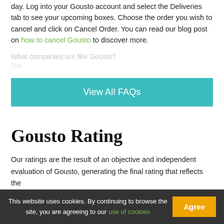day. Log into your Gousto account and select the Deliveries tab to see your upcoming boxes. Choose the order you wish to cancel and click on Cancel Order. You can read our blog post on how to cancel Gousto to discover more.
What companies are like Gousto?
[faded placeholder text line]
View All FAQs
Gousto Rating
Our ratings are the result of an objective and independent evaluation of Gousto, generating the final rating that reflects the
This website uses cookies. By continuing to browse the site, you are agreeing to our use of cookies